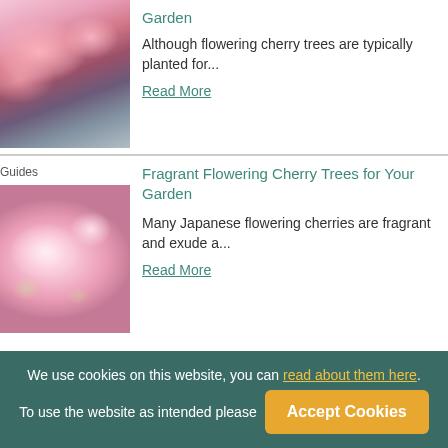[Figure (photo): Cherry blossom trees in front of a building]
Although flowering cherry trees are typically planted for...
Read More
Guides
Fragrant Flowering Cherry Trees for Your Garden
[Figure (photo): Close-up of pale pink cherry blossoms]
Many Japanese flowering cherries are fragrant and exude a...
Read More
We use cookies on this website, you can read about them here. To use the website as intended please  Accept Cookies